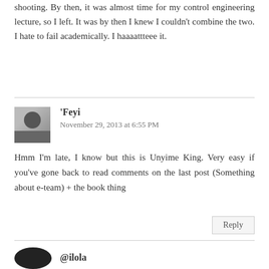waited for hours before they started shooting. By then, it was almost time for my control engineering lecture, so I left. It was by then I knew I couldn't combine the two. I hate to fail academically. I haaaattteee it.
'Feyi
November 29, 2013 at 6:55 PM
Hmm I'm late, I know but this is Unyime King. Very easy if you've gone back to read comments on the last post (Something about e-team) + the book thing
Reply
@ilola